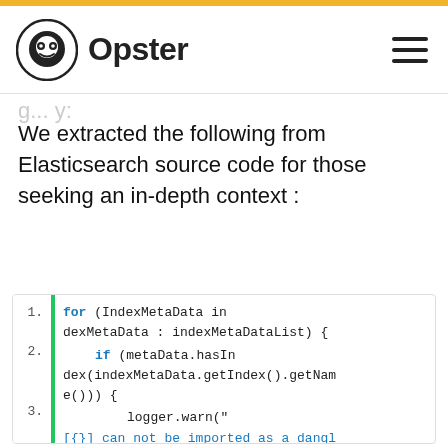Opster
We extracted the following from Elasticsearch source code for those seeking an in-depth context :
[Figure (screenshot): Code block showing Java source code with line numbers 1-4. Line 1: for (IndexMetaData indexMetaData : indexMetaDataList) {  Line 2: if (metaData.hasIndex(indexMetaData.getIndex().getName())) {  Line 3: logger.warn("[{}] can not be imported as a dangling index; as index with same name already exists in cluster metadata";  Line 4: indexMetaData.getIndex());]